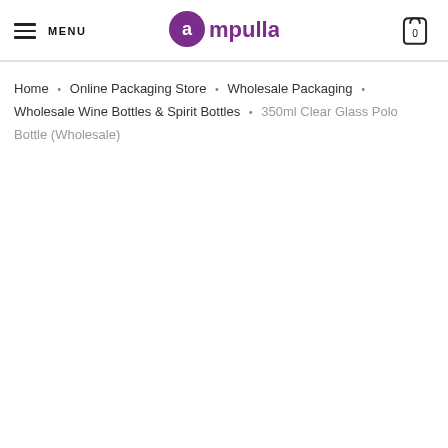MENU | Ampulla | Cart (0)
Home • Online Packaging Store • Wholesale Packaging • Wholesale Wine Bottles & Spirit Bottles • 350ml Clear Glass Polo Bottle (Wholesale)